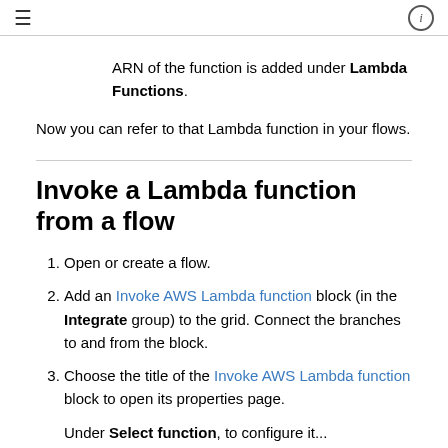≡  ⓘ
ARN of the function is added under Lambda Functions.
Now you can refer to that Lambda function in your flows.
Invoke a Lambda function from a flow
1. Open or create a flow.
2. Add an Invoke AWS Lambda function block (in the Integrate group) to the grid. Connect the branches to and from the block.
3. Choose the title of the Invoke AWS Lambda function block to open its properties page.
4. Under Select function, to configure it...